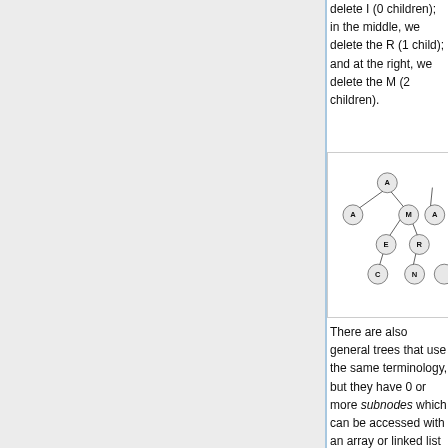delete I (0 children); in the middle, we delete the R (1 child); and at the right, we delete the M (2 children).
[Figure (engineering-diagram): A binary search tree with nodes A (root), A (left child of root), M (right child of root), E (left child of M), R (right child of M), C (left child of E), N (left child of R). Partially cropped on right showing another tree with node A visible.]
There are also general trees that use the same terminology, but they have 0 or more subnodes which can be accessed with an array or linked list of pointers. Pre-order and post-order traversals are possible with these trees, but the other